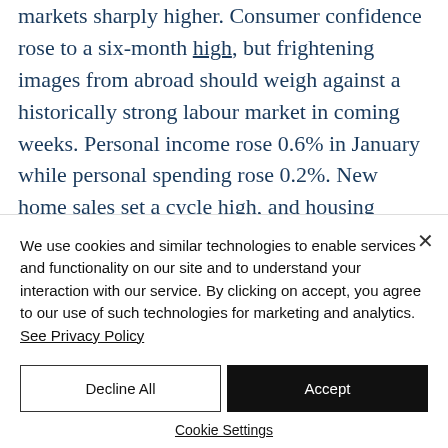markets sharply higher. Consumer confidence rose to a six-month high, but frightening images from abroad should weigh against a historically strong labour market in coming weeks. Personal income rose 0.6% in January while personal spending rose 0.2%. New home sales set a cycle high, and housing should continue to
We use cookies and similar technologies to enable services and functionality on our site and to understand your interaction with our service. By clicking on accept, you agree to our use of such technologies for marketing and analytics. See Privacy Policy
Decline All
Accept
Cookie Settings